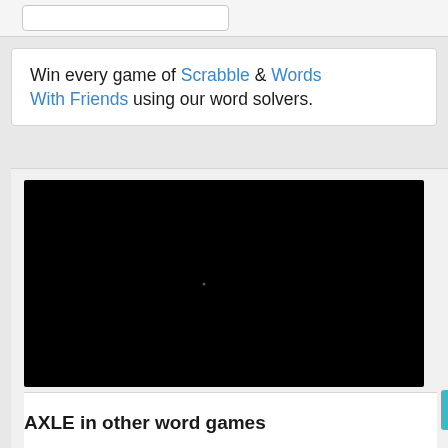[Figure (screenshot): Search input box at the top of the page]
Win every game of Scrabble & Words With Friends using our word solvers.
[Figure (screenshot): Black video player embed with a small dot near the center]
AXLE in other word games